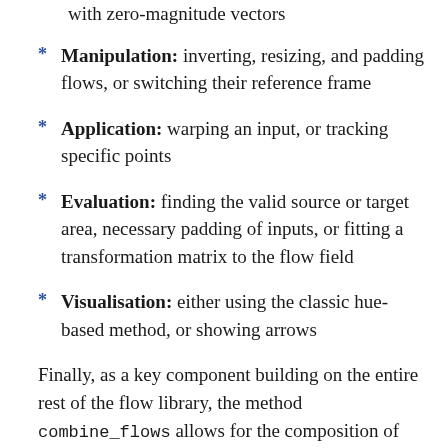with zero-magnitude vectors
Manipulation: inverting, resizing, and padding flows, or switching their reference frame
Application: warping an input, or tracking specific points
Evaluation: finding the valid source or target area, necessary padding of inputs, or fitting a transformation matrix to the flow field
Visualisation: either using the classic hue-based method, or showing arrows
Finally, as a key component building on the entire rest of the flow library, the method combine_flows allows for the composition of optical flow fields in…